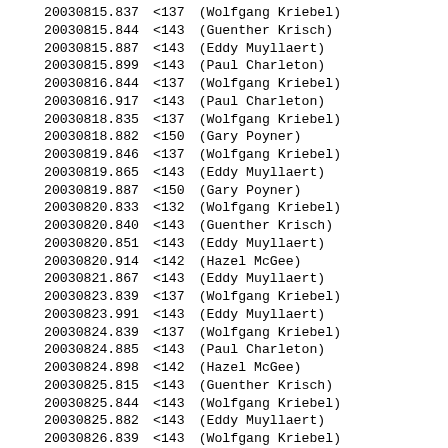| 20030815.837 | <137 | (Wolfgang Kriebel) |
| 20030815.844 | <143 | (Guenther Krisch) |
| 20030815.887 | <143 | (Eddy Muyllaert) |
| 20030815.899 | <143 | (Paul Charleton) |
| 20030816.844 | <137 | (Wolfgang Kriebel) |
| 20030816.917 | <143 | (Paul Charleton) |
| 20030818.835 | <137 | (Wolfgang Kriebel) |
| 20030818.882 | <150 | (Gary Poyner) |
| 20030819.846 | <137 | (Wolfgang Kriebel) |
| 20030819.865 | <143 | (Eddy Muyllaert) |
| 20030819.887 | <150 | (Gary Poyner) |
| 20030820.833 | <132 | (Wolfgang Kriebel) |
| 20030820.840 | <143 | (Guenther Krisch) |
| 20030820.851 | <143 | (Eddy Muyllaert) |
| 20030820.914 | <142 | (Hazel McGee) |
| 20030821.867 | <143 | (Eddy Muyllaert) |
| 20030823.839 | <137 | (Wolfgang Kriebel) |
| 20030823.991 | <143 | (Eddy Muyllaert) |
| 20030824.839 | <137 | (Wolfgang Kriebel) |
| 20030824.885 | <143 | (Paul Charleton) |
| 20030824.898 | <142 | (Hazel McGee) |
| 20030825.815 | <143 | (Guenther Krisch) |
| 20030825.844 | <143 | (Wolfgang Kriebel) |
| 20030825.882 | <143 | (Eddy Muyllaert) |
| 20030826.839 | <143 | (Wolfgang Kriebel) |
| 20030826.856 | <143 | (Eddy Muyllaert) |
| 20030827.826 | <137 | (Wolfgang Kriebel) |
| 20030827.847 | <143 | (Eddy Muyllaert) |
| 20030827.890 | <143 | (Paul Charleton) |
| 20030829.867 | <143 | (Wolfgang Kriebel) |